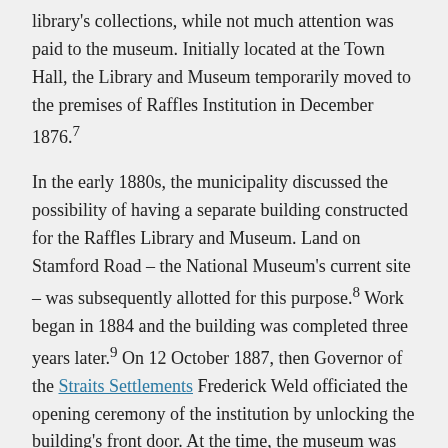library's collections, while not much attention was paid to the museum. Initially located at the Town Hall, the Library and Museum temporarily moved to the premises of Raffles Institution in December 1876.7
In the early 1880s, the municipality discussed the possibility of having a separate building constructed for the Raffles Library and Museum. Land on Stamford Road – the National Museum's current site – was subsequently allotted for this purpose.8 Work began in 1884 and the building was completed three years later.9 On 12 October 1887, then Governor of the Straits Settlements Frederick Weld officiated the opening ceremony of the institution by unlocking the building's front door. At the time, the museum was intended to be primarily a repository of zoological specimens, documenting the natural history of Singapore and the region.10
Overcoming problems
Despite the grandeur of the new edifice, the museum's initial years at its new home were plagued by numerous problems and challenges. Zoological specimens kept in the museum often suffered from mould